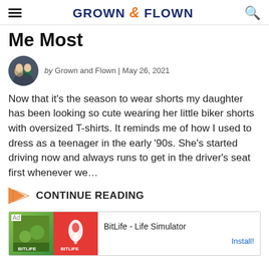GROWN & FLOWN
Me Most
by Grown and Flown | May 26, 2021
Now that it's the season to wear shorts my daughter has been looking so cute wearing her little biker shorts with oversized T-shirts. It reminds me of how I used to dress as a teenager in the early '90s. She's started driving now and always runs to get in the driver's seat first whenever we…
CONTINUE READING
[Figure (screenshot): Advertisement banner for BitLife - Life Simulator app with Install button]